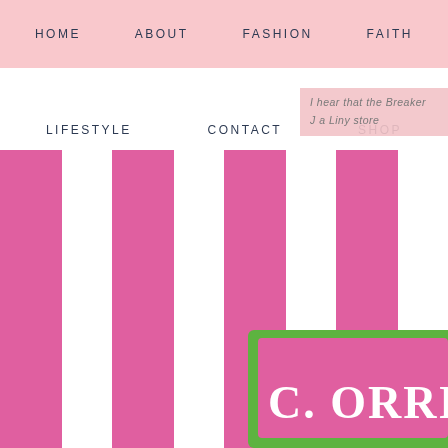HOME   ABOUT   FASHION   FAITH
LIFESTYLE   CONTACT   SHOP
I hear that the Breaker   J a Liny store
[Figure (screenshot): Pink and white vertical stripe pattern with a pink badge featuring green scalloped border and white text reading C. ORRI (partially visible), resembling a brand logo or label]